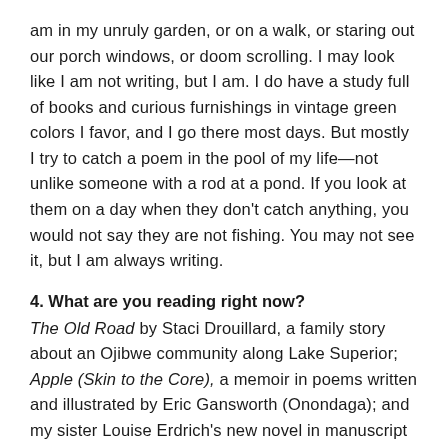am in my unruly garden, or on a walk, or staring out our porch windows, or doom scrolling. I may look like I am not writing, but I am. I do have a study full of books and curious furnishings in vintage green colors I favor, and I go there most days. But mostly I try to catch a poem in the pool of my life—not unlike someone with a rod at a pond. If you look at them on a day when they don't catch anything, you would not say they are not fishing. You may not see it, but I am always writing.
4. What are you reading right now?
The Old Road by Staci Drouillard, a family story about an Ojibwe community along Lake Superior; Apple (Skin to the Core), a memoir in poems written and illustrated by Eric Gansworth (Onondaga); and my sister Louise Erdrich's new novel in manuscript draft, and a shelf of little ones you would half finish...